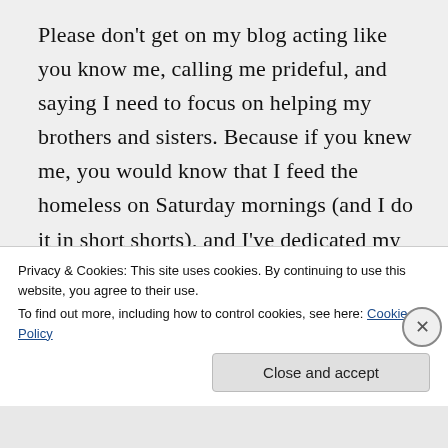Please don't get on my blog acting like you know me, calling me prideful, and saying I need to focus on helping my brothers and sisters. Because if you knew me, you would know that I feed the homeless on Saturday mornings (and I do it in short shorts), and I've dedicated my life's work to improving the lives of women, especially young black girls and women. That's what this blog is for. If you clicked around, you would notice that I write a lot about self-confidence
Privacy & Cookies: This site uses cookies. By continuing to use this website, you agree to their use.
To find out more, including how to control cookies, see here: Cookie Policy
Close and accept